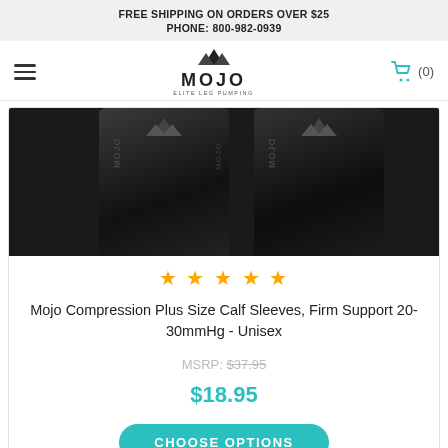FREE SHIPPING ON ORDERS OVER $25
PHONE: 800-982-0939
[Figure (logo): Mojo Elite Leg Pumping logo with mountain triangle icon]
[Figure (photo): Two black Mojo compression calf sleeves shown side by side, top view cropped]
[Figure (other): Five gold star rating]
Mojo Compression Plus Size Calf Sleeves, Firm Support 20-30mmHg - Unisex
MSRP: $37.95
$18.95
CHOOSE OPTIONS
[Figure (photo): Partial view of second product — skin-toned leg compression sleeves, cropped at bottom of page]
[Figure (other): TrustedSite Certified Secure badge]